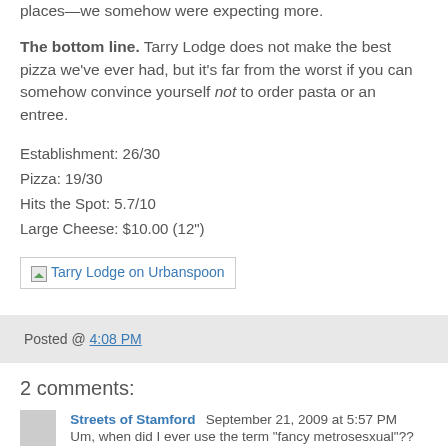world-renowned owners and chefs, a menu without decimal places—we somehow were expecting more.
The bottom line. Tarry Lodge does not make the best pizza we've ever had, but it's far from the worst if you can somehow convince yourself not to order pasta or an entree.
Establishment: 26/30
Pizza: 19/30
Hits the Spot: 5.7/10
Large Cheese: $10.00 (12")
[Figure (other): Tarry Lodge on Urbanspoon link badge with broken image icon]
Posted @ 4:08 PM
2 comments:
Streets of Stamford  September 21, 2009 at 5:57 PM
Um, when did I ever use the term "fancy metrosesxual"??